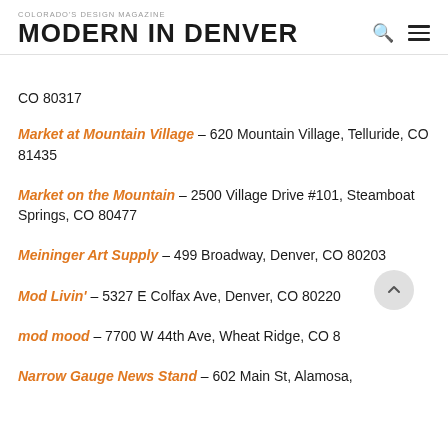COLORADO'S DESIGN MAGAZINE
MODERN IN DENVER
CO 80317
Market at Mountain Village – 620 Mountain Village, Telluride, CO 81435
Market on the Mountain – 2500 Village Drive #101, Steamboat Springs, CO 80477
Meininger Art Supply – 499 Broadway, Denver, CO 80203
Mod Livin' – 5327 E Colfax Ave, Denver, CO 80220
mod mood – 7700 W 44th Ave, Wheat Ridge, CO 8…
Narrow Gauge News Stand – 602 Main St, Alamosa,